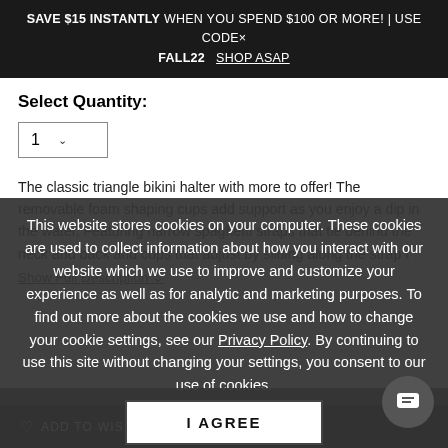SAVE $15 INSTANTLY WHEN YOU SPEND $100 OR MORE! | USE CODE× FALL22   SHOP ASAP
Select Quantity:
[Figure (other): Quantity selector dropdown showing value 1 with chevron]
The classic triangle bikini halter with more to offer! The removable foam shaping cups add support as you enjoy a dip in the water. Featuring narrow spaghetti straps that tie behind the neck and back and cups that adjust by sliding along the strap t
Show Full Description ∨
This website stores cookies on your computer. These cookies are used to collect information about how you interact with our website which we use to improve and customize your experience as well as for analytic and marketing purposes. To find out more about the cookies we use and how to change your cookie settings, see our Privacy Policy. By continuing to use this site without changing your settings, you consent to our use of cookies.
ADD TO WISH LIST
I AGREE